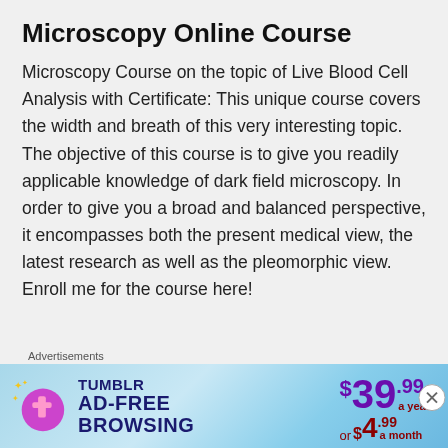Microscopy Online Course
Microscopy Course on the topic of Live Blood Cell Analysis with Certificate: This unique course covers the width and breath of this very interesting topic. The objective of this course is to give you readily applicable knowledge of dark field microscopy. In order to give you a broad and balanced perspective, it encompasses both the present medical view, the latest research as well as the pleomorphic view. Enroll me for the course here!
Advertisements
[Figure (screenshot): Tumblr Ad-Free Browsing advertisement banner showing $39.99 a year or $4.99 a month pricing with Tumblr logo]